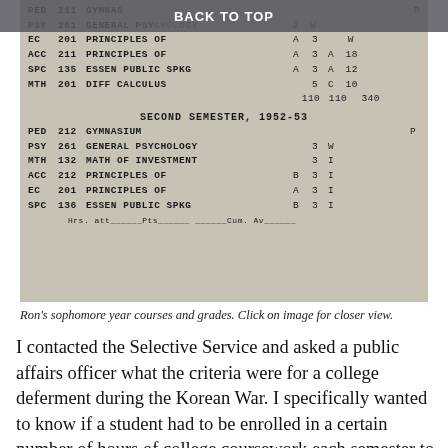BACK TO TOP
[Figure (photo): Scanned college transcript showing first semester 1952-53 and second semester 1952-53 courses and grades for Ron. Courses include PED 211 Gymnasium, PSY 261 General Psychology, EC 201 Principles Of, ACC 211 Principles Of (A, 3, A, 18), SPC 135 Essen Public Spkg (A, 3, A, 12), MTH 201 Diff Calculus (5, C, 10), totals 110 110 340. Second semester: PED 212 Gymnasium (P), PSY 261 General Psychology (3, W), MTH 132 Math Of Investment (3, I), ACC 212 Principles Of (B, 3, I), EC 201 Principles Of (A, 3, I), SPC 136 Essen Public Spkg (B, 3, I). Footer: Hrs. att__Pts____Cum. Av__]
Ron’s sophomore year courses and grades. Click on image for closer view.
I contacted the Selective Service and asked a public affairs officer what the criteria were for a college deferment during the Korean War. I specifically wanted to know if a student had to be enrolled in a certain number of hours of college coursework each semester to be eligible.